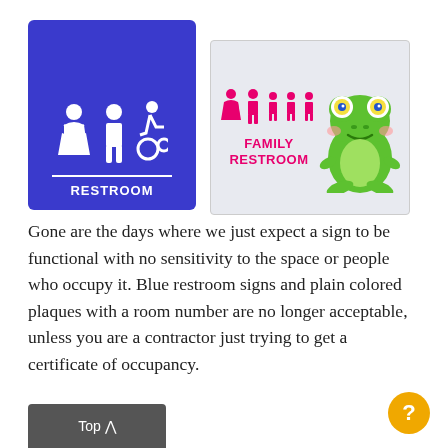[Figure (photo): Two restroom signs side by side. Left: blue ADA restroom sign with male, female, and wheelchair icons above 'RESTROOM'. Right: family restroom sign with pink family icons and a cartoon frog image, labeled 'FAMILY RESTROOM'.]
Gone are the days where we just expect a sign to be functional with no sensitivity to the space or people who occupy it. Blue restroom signs and plain colored plaques with a room number are no longer acceptable, unless you are a contractor just trying to get a certificate of occupancy.